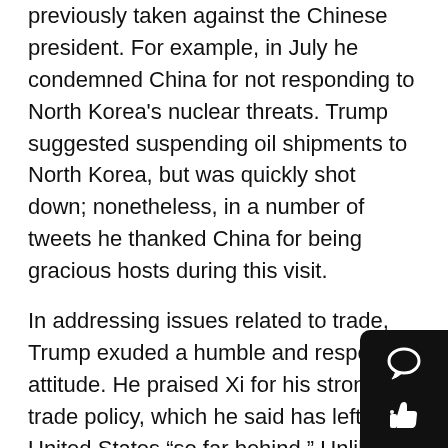previously taken against the Chinese president. For example, in July he condemned China for not responding to North Korea's nuclear threats. Trump suggested suspending oil shipments to North Korea, but was quickly shot down; nonetheless, in a number of tweets he thanked China for being gracious hosts during this visit.
In addressing issues related to trade, Trump exuded a humble and respectful attitude. He praised Xi for his strong trade policy, which he said has left the United States “so far behind.” Unlike the North Korea talks, Trump made a tangible gain from the trade discussion: he signed $250 billion worth of business agreements between the United States and China. These deals are preliminary and can take years to be enacted. Experts see this deal as a token of China’s goodwill, even though it does not grant the United States any new market access in fields such as technology. Some say that this deal was